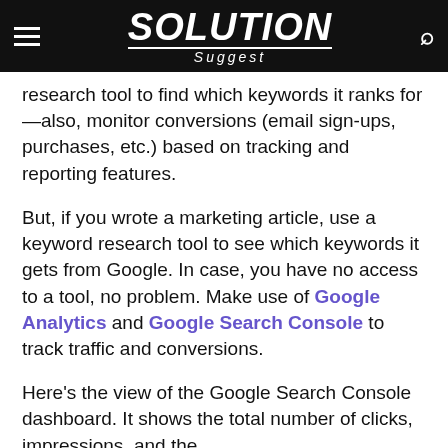SOLUTION Suggest
research tool to find which keywords it ranks for—also, monitor conversions (email sign-ups, purchases, etc.) based on tracking and reporting features.
But, if you wrote a marketing article, use a keyword research tool to see which keywords it gets from Google. In case, you have no access to a tool, no problem. Make use of Google Analytics and Google Search Console to track traffic and conversions.
Here's the view of the Google Search Console dashboard. It shows the total number of clicks, impressions, and the average click-through rate of a site.